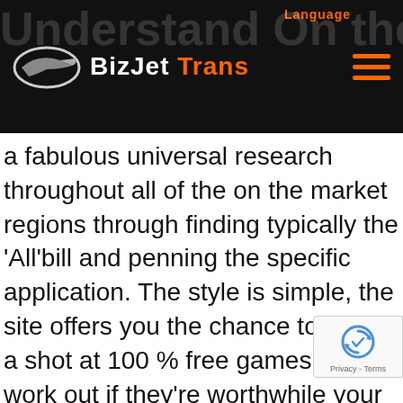BizJet Trans — Language navigation header
Understand On the net Slots
a fabulous universal research throughout all of the on the market regions through finding typically the 'All'bill and penning the specific application. The style is simple, the site offers you the chance to have a shot at 100 % free games to work out if they're worthwhile your dollars or even not. As a result in to the simplicity of almost all game enthusiasts in deciding to play on-line, mainly can come below used only for Slotxo สล็อตเว็บตรงไม่ผ่านเอเย่นต์. You will be ready to enjoy pleasurable in addition to get true dollars by simply deciding to experience on-line slots having us. A number of us